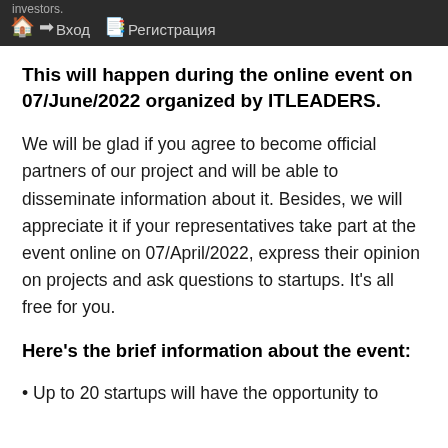investors.  🏠  ➡ Вход  🗒 Регистрация
This will happen during the online event on 07/June/2022 organized by ITLEADERS.
We will be glad if you agree to become official partners of our project and will be able to disseminate information about it. Besides, we will appreciate it if your representatives take part at the event online on 07/April/2022, express their opinion on projects and ask questions to startups. It's all free for you.
Here's the brief information about the event:
• Up to 20 startups will have the opportunity to